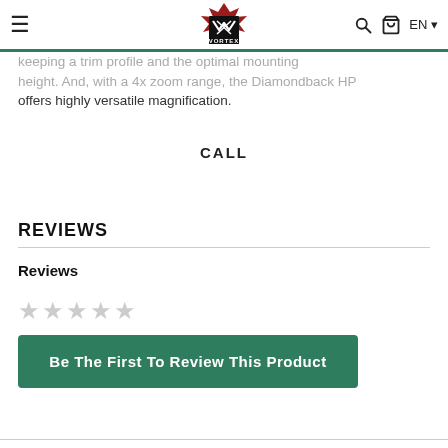Navigation bar with Vortex logo, hamburger menu, search, cart, EN language selector
keeping a trim profile and the optimal mounting height. And, with a 4x zoom range, the Diamondback HP offers highly versatile magnification.
CALL
REVIEWS
Reviews
★★★★★ (empty stars)
Be The First To Review This Product